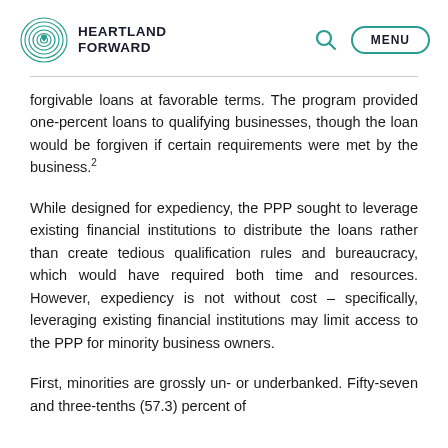HEARTLAND FORWARD
forgivable loans at favorable terms. The program provided one-percent loans to qualifying businesses, though the loan would be forgiven if certain requirements were met by the business.²
While designed for expediency, the PPP sought to leverage existing financial institutions to distribute the loans rather than create tedious qualification rules and bureaucracy, which would have required both time and resources. However, expediency is not without cost – specifically, leveraging existing financial institutions may limit access to the PPP for minority business owners.
First, minorities are grossly un- or underbanked. Fifty-seven and three-tenths (57.3) percent of